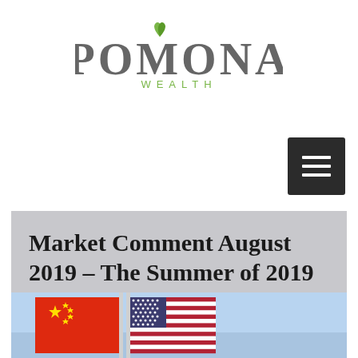[Figure (logo): Pomona Wealth logo with stylized text and green leaf accent on the O]
[Figure (other): Hamburger menu button (three horizontal white lines on dark background)]
Market Comment August 2019 – The Summer of 2019 – All Eyes on the US
[Figure (photo): Photo of Chinese and American flags side by side against a blue sky background]